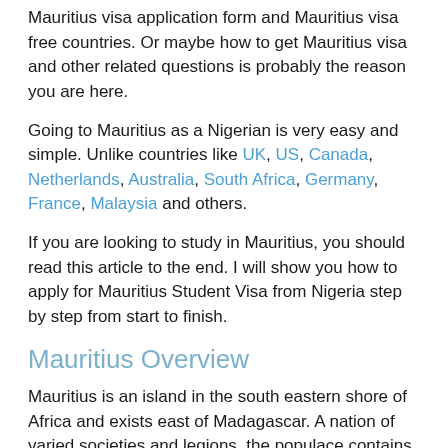Mauritius visa application form and Mauritius visa free countries. Or maybe how to get Mauritius visa and other related questions is probably the reason you are here.
Going to Mauritius as a Nigerian is very easy and simple. Unlike countries like UK, US, Canada, Netherlands, Australia, South Africa, Germany, France, Malaysia and others.
If you are looking to study in Mauritius, you should read this article to the end. I will show you how to apply for Mauritius Student Visa from Nigeria step by step from start to finish.
Mauritius Overview
Mauritius is an island in the south eastern shore of Africa and exists east of Madagascar. A nation of varied societies and legions, the populace contains Hindus, Creole, Chinese, Muslims, Christians and Europeans.
The economy is based upon textile, Tourist, Sugar as well as Services and enjoys political security. NO VISA is required by